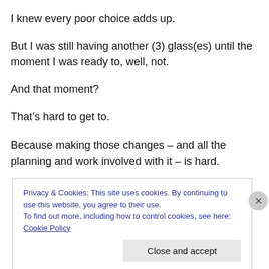I knew every poor choice adds up.
But I was still having another (3) glass(es) until the moment I was ready to, well, not.
And that moment?
That’s hard to get to.
Because making those changes – and all the planning and work involved with it – is hard.
Privacy & Cookies: This site uses cookies. By continuing to use this website, you agree to their use.
To find out more, including how to control cookies, see here: Cookie Policy